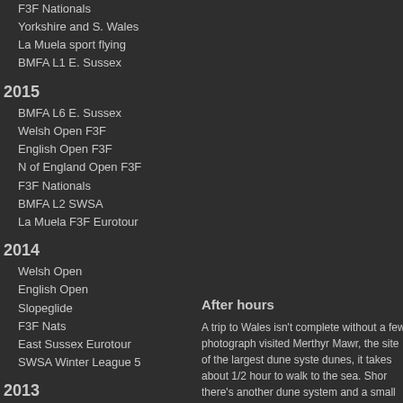F3F Nationals
Yorkshire and S. Wales
La Muela sport flying
BMFA L1 E. Sussex
2015
BMFA L6 E. Sussex
Welsh Open F3F
English Open F3F
N of England Open F3F
F3F Nationals
BMFA L2 SWSA
La Muela F3F Eurotour
2014
Welsh Open
English Open
Slopeglide
F3F Nats
East Sussex Eurotour
SWSA Winter League 5
2013
La Muela, Spain
N. of England Eurotour
F3F Nats
BMFA L1
2012
Welsh Open
After hours
A trip to Wales isn't complete without a few photograph visited Merthyr Mawr, the site of the largest dune syste dunes, it takes about 1/2 hour to walk to the sea. Shor there's another dune system and a small lake.